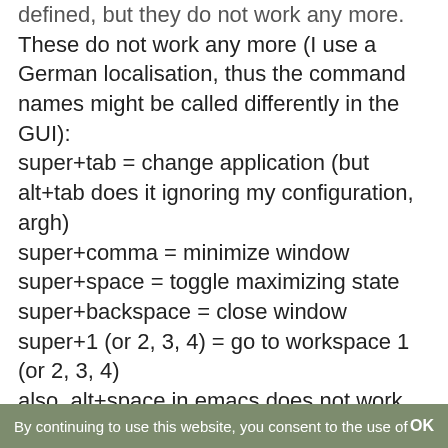defined, but they do not work any more. These do not work any more (I use a German localisation, thus the command names might be called differently in the GUI): super+tab = change application (but alt+tab does it ignoring my configuration, argh) super+comma = minimize window super+space = toggle maximizing state super+backspace = close window super+1 (or 2, 3, 4) = go to workspace 1 (or 2, 3, 4) also, alt+space in emacs does not work becaue cinnamon shows the windows menu rather than handing it over to emacs.
All that was no problem in Cinnamon 1.4.x!
Other key bindings using super still work in 1.6.7, e.g. super+# for locking screen or super+[character] for
By continuing to use this website, you consent to the use of    OK